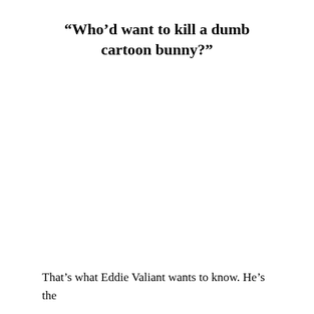“Who’d want to kill a dumb cartoon bunny?”
That’s what Eddie Valiant wants to know. He’s the